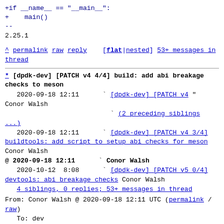+if __name__ == "__main__":
+    main()
--
2.25.1
^ permalink raw reply [flat|nested] 53+ messages in thread
* [dpdk-dev] [PATCH v4 4/4] build: add abi breakage checks to meson
   2020-09-18 12:11  ` [dpdk-dev] [PATCH v4 " Conor Walsh
                      ` (2 preceding siblings ...)
   2020-09-18 12:11  ` [dpdk-dev] [PATCH v4 3/4] buildtools: add script to setup abi checks for meson Conor Walsh
@ 2020-09-18 12:11  ` Conor Walsh
   2020-10-12  8:08  ` [dpdk-dev] [PATCH v5 0/4] devtools: abi breakage checks Conor Walsh
   4 siblings, 0 replies; 53+ messages in thread
From: Conor Walsh @ 2020-09-18 12:11 UTC (permalink / raw)
   To: dev
   Cc: david.marchand, ray.kinsella, nhorman, aconole, maicolgabriel,
           thomas, bruce.richardson, anatoly.burakov,
Conor Walsh